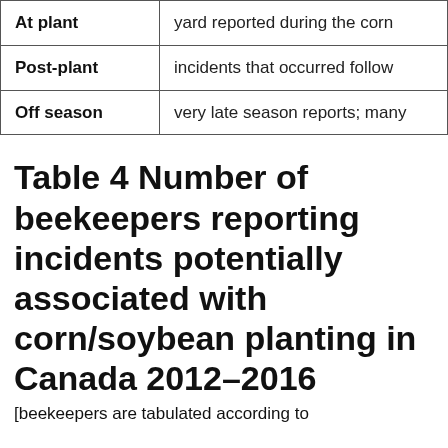|  |  |
| --- | --- |
| At plant | yard reported during the corn |
| Post-plant | incidents that occurred follow |
| Off season | very late season reports; many |
Table 4 Number of beekeepers reporting incidents potentially associated with corn/soybean planting in Canada 2012–2016
[beekeepers are tabulated according to